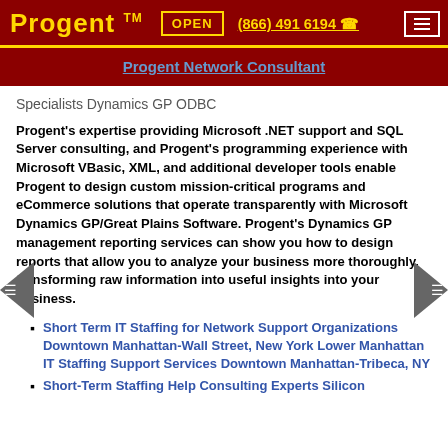Progent™  OPEN  (866) 491 6194  ☎
Progent Network Consultant
Specialists Dynamics GP ODBC
Progent's expertise providing Microsoft .NET support and SQL Server consulting, and Progent's programming experience with Microsoft VBasic, XML, and additional developer tools enable Progent to design custom mission-critical programs and eCommerce solutions that operate transparently with Microsoft Dynamics GP/Great Plains Software. Progent's Dynamics GP management reporting services can show you how to design reports that allow you to analyze your business more thoroughly, transforming raw information into useful insights into your business.
Short Term IT Staffing for Network Support Organizations Downtown Manhattan-Wall Street, New York Lower Manhattan IT Staffing Support Services Downtown Manhattan-Tribeca, NY
Short-Term Staffing Help Consulting Experts Silicon